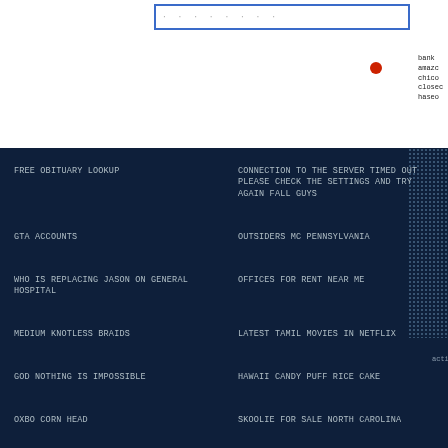[Figure (screenshot): Search bar with blue border and dotted text at top]
FREE OBITUARY LOOKUP
CONNECTION TO THE SERVER TIMED OUT PLEASE CHECK THE SETTINGS AND TRY AGAIN FALL GUYS
GTA ACCOUNTS
OUTSIDERS MC PENNSYLVANIA
WHO IS REPLACING JASON ON GENERAL HOSPITAL
OFFICES FOR RENT NEAR ME
MEDIUM KNOTLESS BRAIDS
LATEST TAMIL MOVIES IN NETFLIX
GOD NOTHING IS IMPOSSIBLE
HAWAII CANDY PUFF RICE CAKE
OXBO CORN HEAD
SKOOLIE FOR SALE NORTH CAROLINA